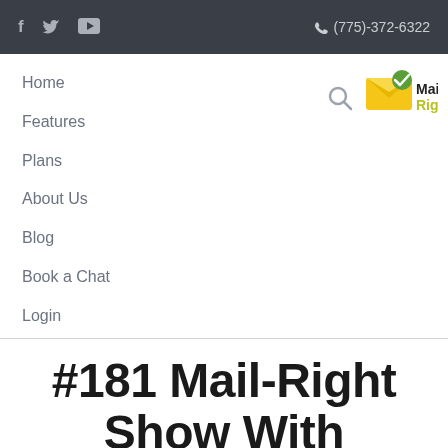f  🐦  ▶   (775)-372-6322
Home
Features
Plans
About Us
Blog
Book a Chat
Login
[Figure (logo): Mail Right logo: yellow envelope with checkmark and text Mail Right]
#181 Mail-Right Show With Special Guest